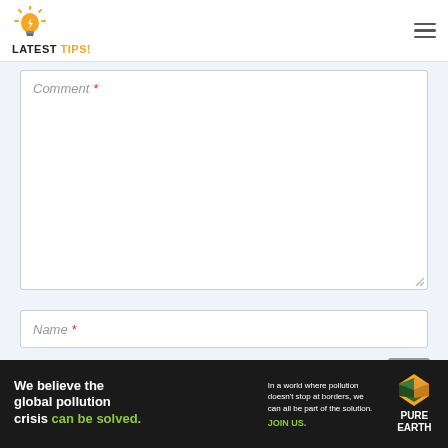LATEST TIPS!
Comment *
Name *
[Figure (screenshot): Pure Earth advertisement banner: 'We believe the global pollution crisis can be solved.' with Pure Earth logo]